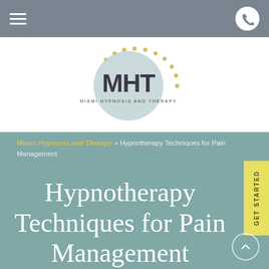Navigation bar with hamburger menu and phone button
[Figure (logo): MHT Miami Hypnosis and Therapy circular logo with dotted arc decoration in gold/yellow]
Miami Hypnosis and Therapy » Hypnotherapy Techniques for Pain Management
Hypnotherapy Techniques for Pain Management
GET STARTED